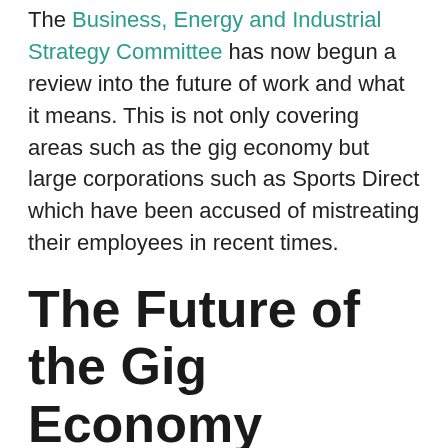The Business, Energy and Industrial Strategy Committee has now begun a review into the future of work and what it means. This is not only covering areas such as the gig economy but large corporations such as Sports Direct which have been accused of mistreating their employees in recent times.
The Future of the Gig Economy
In some ways, the gig economy has moved too fast for legislatures to catch up. That has left some pretty important questions about